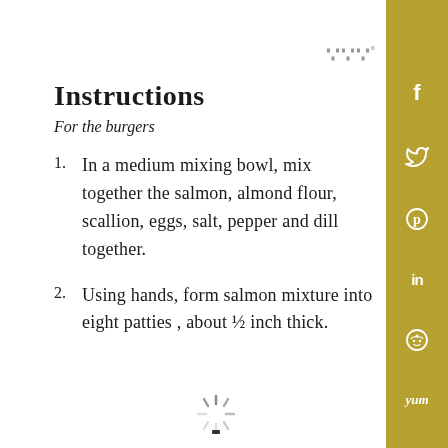www°
Instructions
For the burgers
1. In a medium mixing bowl, mix together the salmon, almond flour, scallion, eggs, salt, pepper and dill together.
2. Using hands, form salmon mixture into eight patties , about ½ inch thick.
[Figure (other): Loading spinner icon at bottom of page]